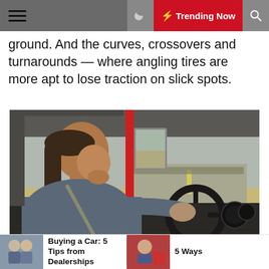Trending Now (navigation bar)
ground. And the curves, crossovers and turnarounds — where angling tires are more apt to lose traction on slick spots.
[Figure (photo): A truck driver sits in the cab of a semi-truck, viewed from the passenger side. He is gripping the steering wheel with his right hand. The truck cab has a red door frame. Through the windshield, a highway and flat open landscape are visible.]
Buying a Car: 5 Tips from Dealerships | 5 Ways